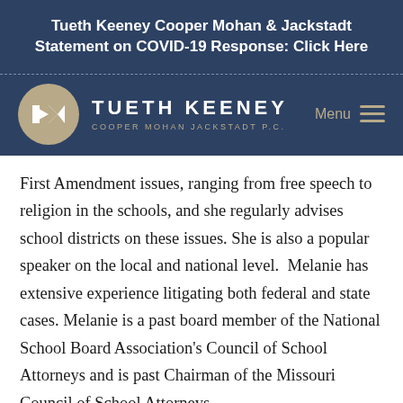Tueth Keeney Cooper Mohan & Jackstadt Statement on COVID-19 Response: Click Here
[Figure (logo): Tueth Keeney Cooper Mohan Jackstadt P.C. law firm logo with circular TK monogram and firm name]
First Amendment issues, ranging from free speech to religion in the schools, and she regularly advises school districts on these issues. She is also a popular speaker on the local and national level.  Melanie has extensive experience litigating both federal and state cases. Melanie is a past board member of the National School Board Association's Council of School Attorneys and is past Chairman of the Missouri Council of School Attorneys.